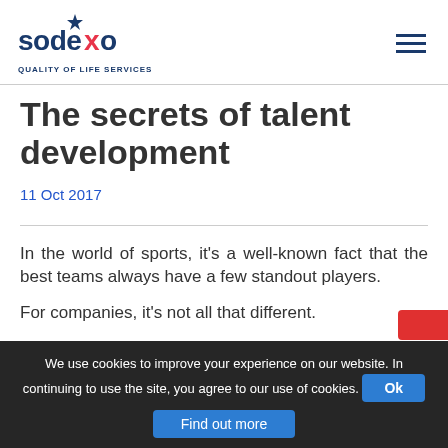sodexo QUALITY OF LIFE SERVICES
The secrets of talent development
11 Oct 2017
In the world of sports, it's a well-known fact that the best teams always have a few standout players.
For companies, it's not all that different.
We use cookies to improve your experience on our website. In continuing to use the site, you agree to our use of cookies.